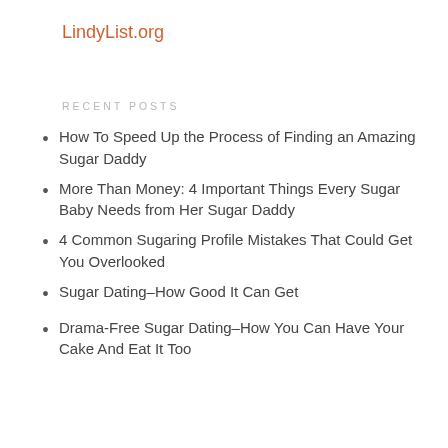LindyList.org
RECENT POSTS
How To Speed Up the Process of Finding an Amazing Sugar Daddy
More Than Money: 4 Important Things Every Sugar Baby Needs from Her Sugar Daddy
4 Common Sugaring Profile Mistakes That Could Get You Overlooked
Sugar Dating–How Good It Can Get
Drama-Free Sugar Dating–How You Can Have Your Cake And Eat It Too